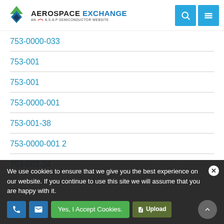AEROSPACE EXCHANGE - AN A.S.A.P SEMICONDUCTOR WEBSITE
753-0000-033
753-001
753-001
753-0000-001
753-001-38
753-0000-001 2
753-002-24
We use cookies to ensure that we give you the best experience on our website. If you continue to use this site we will assume that you are happy with it.
Yes, I Accept Cookies.
Upload